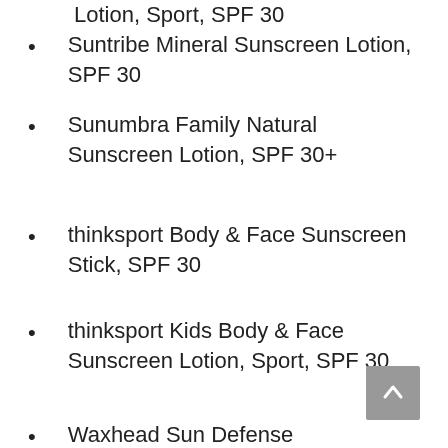Lotion, Sport, SPF 30
Suntribe Mineral Sunscreen Lotion, SPF 30
Sunumbra Family Natural Sunscreen Lotion, SPF 30+
thinksport Body & Face Sunscreen Stick, SPF 30
thinksport Kids Body & Face Sunscreen Lotion, Sport, SPF 30
Waxhead Sun Defense Sunscreen Stick, SPF 30
Waxhead Sun Defense Skin Nourishing Sunscreen Lotion, SPF 30